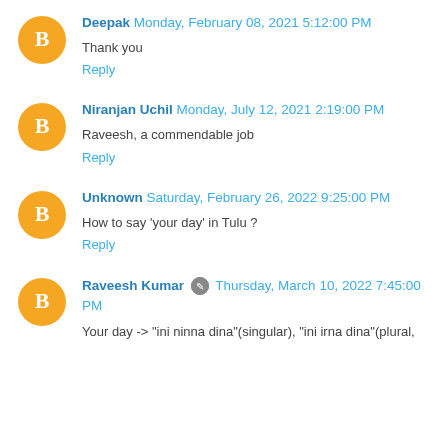Deepak Monday, February 08, 2021 5:12:00 PM
Thank you
Reply
Niranjan Uchil Monday, July 12, 2021 2:19:00 PM
Raveesh, a commendable job
Reply
Unknown Saturday, February 26, 2022 9:25:00 PM
How to say 'your day' in Tulu ?
Reply
Raveesh Kumar Thursday, March 10, 2022 7:45:00 PM
Your day -> "ini ninna dina"(singular), "ini irna dina"(plural,